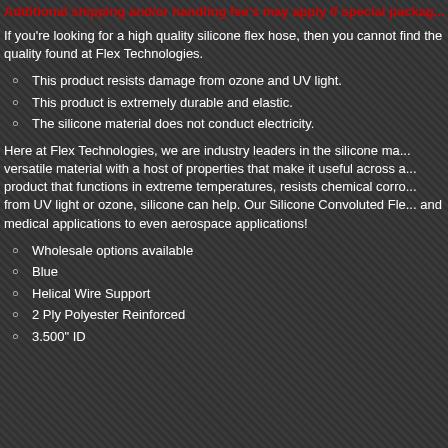Additional shipping and/or handling fee's may apply if special packag...
If you're looking for a high quality silicone flex hose, then you cannot find the quality found at Flex Technologies.
This product resists damage from ozone and UV light.
This product is extremely durable and elastic.
The silicone material does not conduct electricity.
Here at Flex Technologies, we are industry leaders in the silicone manufacturing industry. Silicone is a versatile material with a host of properties that make it useful across a wide variety of industries. Need a product that functions in extreme temperatures, resists chemical corrosion, or provides protection from UV light or ozone, silicone can help. Our Silicone Convoluted Flex Hose is used from medical applications to even aerospace applications!
Wholesale options available
Blue
Helical Wire Support
2 Ply Polyester Reinforced
3.500" ID